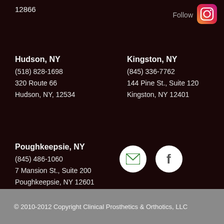12866
Follow
Hudson, NY
(518) 828-1698
320 Route 66
Hudson, NY, 12534
Kingston, NY
(845) 336-7762
144 Pine St., Suite 120
Kingston, NY 12401
Poughkeepsie, NY
(845) 486-1060
7 Mansion St., Suite 200
Poughkeepsie, NY 12601
[Figure (logo): Email icon (envelope) on white circle]
[Figure (logo): Facebook icon (f) on white circle]
© 2010-2012 Copyright Clinical Prosthetics & Orthotics, LLC